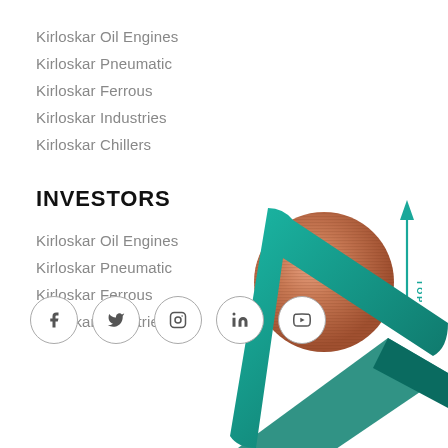Kirloskar Oil Engines
Kirloskar Pneumatic
Kirloskar Ferrous
Kirloskar Industries
Kirloskar Chillers
INVESTORS
Kirloskar Oil Engines
Kirloskar Pneumatic
Kirloskar Ferrous
Kirloskar Industries
[Figure (illustration): Copper-colored sphere with horizontal texture lines, with a teal upward arrow and 'TOP' text to the right]
[Figure (illustration): Teal/dark green angular chevron/arrow shape in lower right corner]
[Figure (illustration): Social media icons in circles: Facebook, Twitter, Instagram, LinkedIn, YouTube]